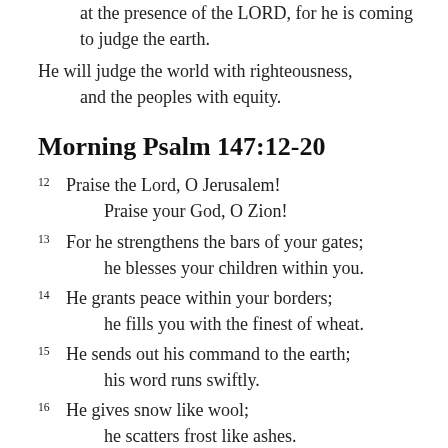at the presence of the LORD, for he is coming to judge the earth.
He will judge the world with righteousness, and the peoples with equity.
Morning Psalm 147:12-20
12 Praise the Lord, O Jerusalem! Praise your God, O Zion!
13 For he strengthens the bars of your gates; he blesses your children within you.
14 He grants peace within your borders; he fills you with the finest of wheat.
15 He sends out his command to the earth; his word runs swiftly.
16 He gives snow like wool; he scatters frost like ashes.
17 He hurls down hail like crumbs — who can stand before his cold?